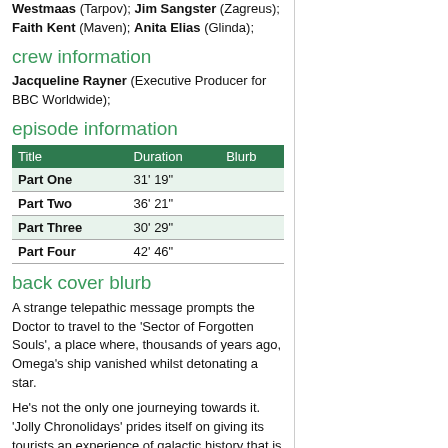Westmaas (Tarpov); Jim Sangster (Zagreus); Faith Kent (Maven); Anita Elias (Glinda);
crew information
Jacqueline Rayner (Executive Producer for BBC Worldwide);
episode information
| Title | Duration | Blurb |
| --- | --- | --- |
| Part One | 31' 19" |  |
| Part Two | 36' 21" |  |
| Part Three | 30' 29" |  |
| Part Four | 42' 46" |  |
back cover blurb
A strange telepathic message prompts the Doctor to travel to the 'Sector of Forgotten Souls', a place where, thousands of years ago, Omega's ship vanished whilst detonating a star.
He's not the only one journeying towards it. 'Jolly Chronolidays' prides itself on giving its tourists an experience of galactic history that is far better than mere time travel.
Its motto is 'We don't go into history, we